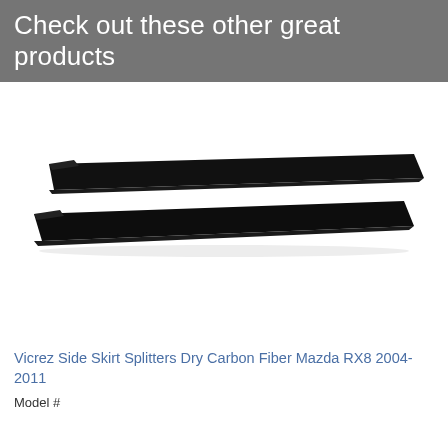Check out these other great products
[Figure (photo): Two elongated black carbon fiber side skirt splitters for Mazda RX8, shown stacked diagonally on a white background]
Vicrez Side Skirt Splitters Dry Carbon Fiber Mazda RX8 2004-2011
Model #